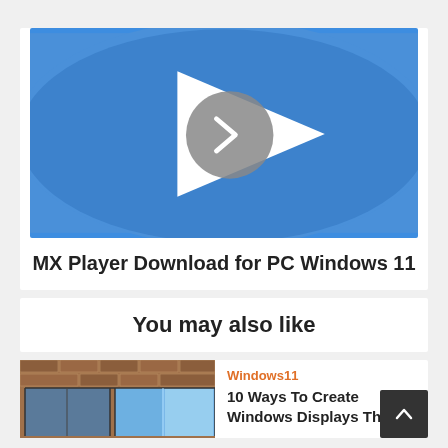[Figure (screenshot): MX Player app icon/logo: blue rounded rectangle background with a large white play triangle in the center and a gray circle with a right-pointing chevron overlaid on the triangle]
MX Player Download for PC Windows 11
You may also like
[Figure (photo): Thumbnail photo of windows/architecture, brownish brick and glass panels]
Windows11
10 Ways To Create Windows Displays That